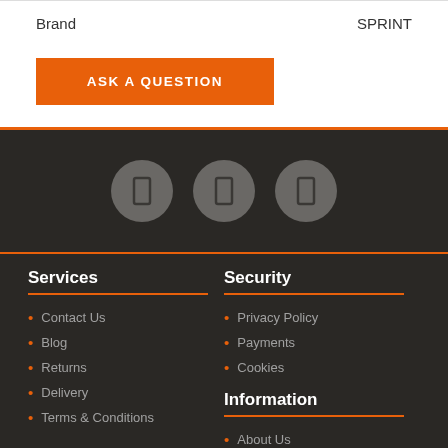| Brand |  |
| --- | --- |
| Brand | SPRINT |
ASK A QUESTION
[Figure (infographic): Three dark grey circular social media icon buttons on a dark brown/charcoal background]
Services
Contact Us
Blog
Returns
Delivery
Terms & Conditions
Security
Privacy Policy
Payments
Cookies
Information
About Us